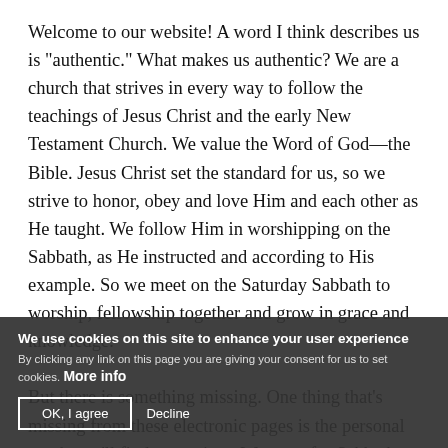Welcome to our website! A word I think describes us is "authentic." What makes us authentic? We are a church that strives in every way to follow the teachings of Jesus Christ and the early New Testament Church. We value the Word of God—the Bible. Jesus Christ set the standard for us, so we strive to honor, obey and love Him and each other as He taught. We follow Him in worshipping on the Sabbath, as He instructed and according to His example. So we meet on the Saturday Sabbath to worship, fellowship together and grow in grace and knowledge.

But there is something missing. One thing that's missing from these electronic pages is the personal touch you'll find at services. We meet for Sabbath services in Monument, Colorado, on the north side of the greater Colorado Springs area. I hope you can join us, and I'm looking forward to meeting you
We use cookies on this site to enhance your user experience
By clicking any link on this page you are giving your consent for us to set cookies. More info
OK, I agree   Decline